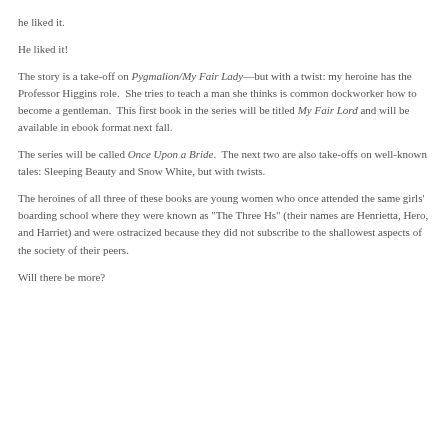he liked it.
He liked it!
The story is a take-off on Pygmalion/My Fair Lady—but with a twist: my heroine has the Professor Higgins role.  She tries to teach a man she thinks is common dockworker how to become a gentleman.  This first book in the series will be titled My Fair Lord and will be available in ebook format next fall.
The series will be called Once Upon a Bride.  The next two are also take-offs on well-known tales: Sleeping Beauty and Snow White, but with twists.
The heroines of all three of these books are young women who once attended the same girls' boarding school where they were known as "The Three Hs" (their names are Henrietta, Hero, and Harriet) and were ostracized because they did not subscribe to the shallowest aspects of the society of their peers.
Will there be more?